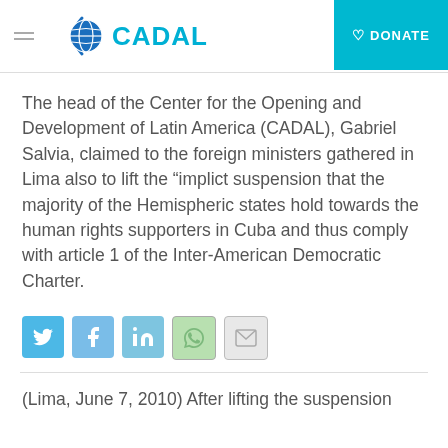CADAL | DONATE
The head of the Center for the Opening and Development of Latin America (CADAL), Gabriel Salvia, claimed to the foreign ministers gathered in Lima also to lift the "implict suspension that the majority of the Hemispheric states hold towards the human rights supporters in Cuba and thus comply with article 1 of the Inter-American Democratic Charter.
[Figure (other): Social sharing icons: Twitter, Facebook, LinkedIn, WhatsApp, Email]
(Lima, June 7, 2010) After lifting the suspension